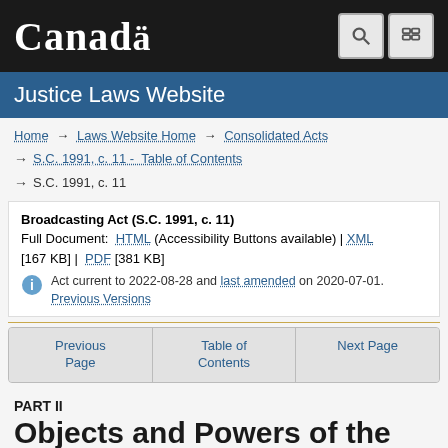Canada — Justice Laws Website
Home → Laws Website Home → Consolidated Acts → S.C. 1991, c. 11 - Table of Contents → S.C. 1991, c. 11
Broadcasting Act (S.C. 1991, c. 11)
Full Document: HTML (Accessibility Buttons available) | XML [167 KB] | PDF [381 KB]
Act current to 2022-08-28 and last amended on 2020-07-01. Previous Versions
| Previous Page | Table of Contents | Next Page |
| --- | --- | --- |
PART II
Objects and Powers of the